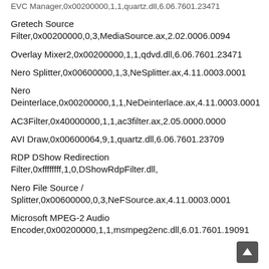EVC Manager,0x00200000,1,1,quartz.dll,6.06.7601.23471
Gretech Source Filter,0x00200000,0,3,MediaSource.ax,2.02.0006.0094
Overlay Mixer2,0x00200000,1,1,qdvd.dll,6.06.7601.23471
Nero Splitter,0x00600000,1,3,NeSplitter.ax,4.11.0003.0001
Nero Deinterlace,0x00200000,1,1,NeDeinterlace.ax,4.11.0003.0001
AC3Filter,0x40000000,1,1,ac3filter.ax,2.05.0000.0000
AVI Draw,0x00600064,9,1,quartz.dll,6.06.7601.23709
RDP DShow Redirection Filter,0xffffffff,1,0,DShowRdpFilter.dll,
Nero File Source / Splitter,0x00600000,0,3,NeFSource.ax,4.11.0003.0001
Microsoft MPEG-2 Audio Encoder,0x00200000,1,1,msmpeg2enc.dll,6.01.7601.19091